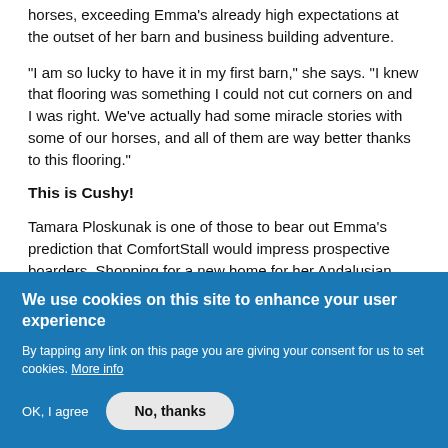horses, exceeding Emma's already high expectations at the outset of her barn and business building adventure.
"I am so lucky to have it in my first barn," she says. "I knew that flooring was something I could not cut corners on and I was right. We've actually had some miracle stories with some of our horses, and all of them are way better thanks to this flooring."
This is Cushy!
Tamara Ploskunak is one of those to bear out Emma's prediction that ComfortStall would impress prospective boarders. Shopping for a new home for her Andalusian
We use cookies on this site to enhance your user experience
By tapping any link on this page you are giving your consent for us to set cookies. More info
OK, I agree
No, thanks